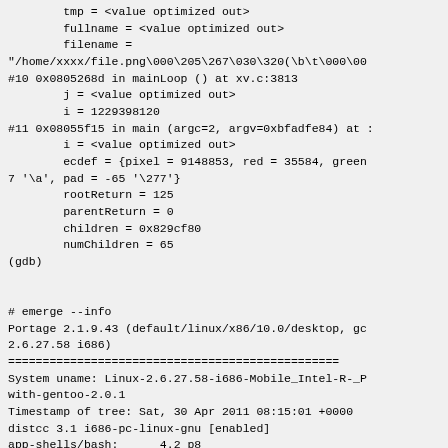tmp = <value optimized out>
        fullname = <value optimized out>
        filename =
"/home/xxxx/file.png\000\205\267\030\320(\b\t\000\00
#10 0x0805268d in mainLoop () at xv.c:3813
        j = <value optimized out>
        i = 1229398120
#11 0x08055f15 in main (argc=2, argv=0xbfadfe84) at :
        i = <value optimized out>
        ecdef = {pixel = 9148853, red = 35584, green
7 '\a', pad = -65 '\277'}
        rootReturn = 125
        parentReturn = 0
        children = 0x829cf80
        numChildren = 65
(gdb)


# emerge --info
Portage 2.1.9.43 (default/linux/x86/10.0/desktop, gc
2.6.27.58 i686)
================================================
System uname: Linux-2.6.27.58-i686-Mobile_Intel-R-_P
with-gentoo-2.0.1
Timestamp of tree: Sat, 30 Apr 2011 08:15:01 +0000
distcc 3.1 i686-pc-linux-gnu [enabled]
app-shells/bash:      4.2_p8
dev-java/java-config: 1.3.7-r1, 2.1.11-r3
dev-lang/python:      2.5.4-r4, 2.6.6-r1, 2.7.1, 3.1.
dev-util/cmake:       2.8.4
sys-apps/baselayout: 2.0.1-r1